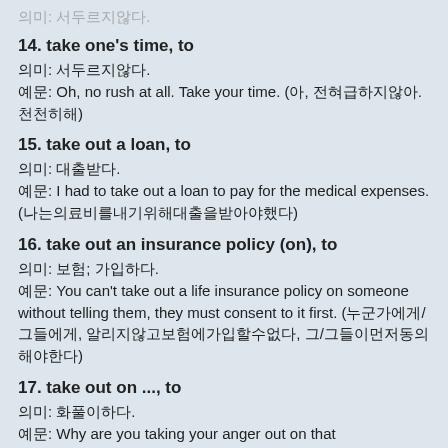14. take one's time, to
의미: 서두르지않다.
예문: Oh, no rush at all. Take your time. (아, 전혀급하지않아. 천천히해)
15. take out a loan, to
의미: 대출받다.
예문: I had to take out a loan to pay for the medical expenses. (나는의료비를내기위해대출을받아야했다)
16. take out an insurance policy (on), to
의미: 보험; 가입하다.
예문: You can't take out a life insurance policy on someone without telling them, they must consent to it first. (누군가에게/그들에게, 알리지않고보험에가입할수없다, 그/그들이먼저동의해야한다)
17. take out on ..., to
의미: 화풀이하다.
예문: Why are you taking your anger out on that